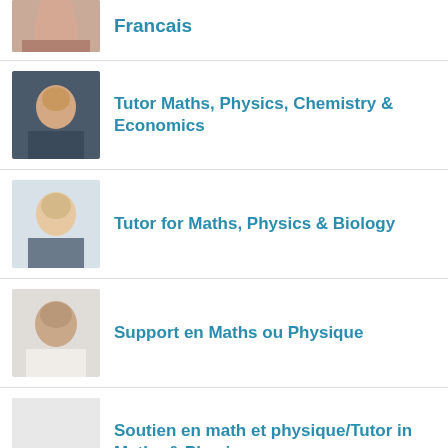[Figure (photo): Partial photo of a person at top of page]
Francais
[Figure (photo): Photo of a man with glasses]
Tutor Maths, Physics, Chemistry & Economics
[Figure (photo): Photo of a young man smiling]
Tutor for Maths, Physics & Biology
[Figure (photo): Photo of a man in professional attire]
Support en Maths ou Physique
[Figure (photo): Placeholder/blank photo square]
Soutien en math et physique/Tutor in Maths & Physics
[Figure (photo): Partial photo at bottom of page]